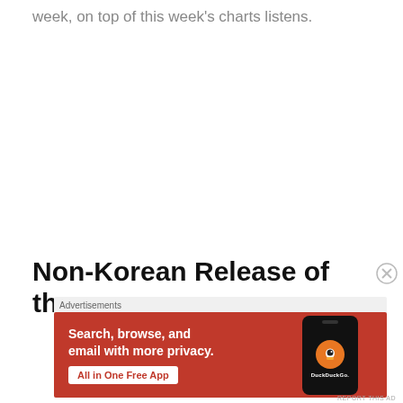week, on top of this week's charts listens.
Non-Korean Release of the
[Figure (other): DuckDuckGo advertisement banner: orange background with text 'Search, browse, and email with more privacy. All in One Free App' and a phone graphic with DuckDuckGo logo]
REPORT THIS AD